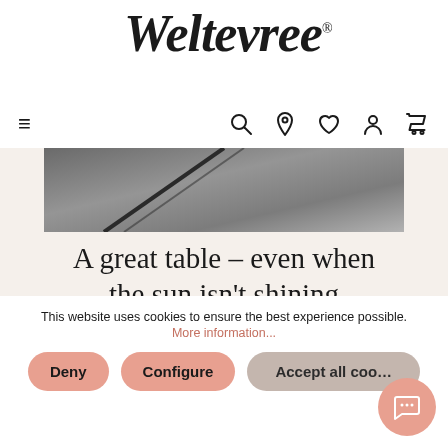[Figure (logo): Weltevree brand logo in italic serif script with registered trademark symbol]
[Figure (other): Navigation bar with hamburger menu icon on left and search, location pin, heart, person, and cart icons on right]
[Figure (photo): Partial product photo showing dark gray stone or concrete surface with diagonal lines]
A great table – even when the sun isn't shining
When there is no sunshine, the sundial becomes dormant, waiting to be activated by
This website uses cookies to ensure the best experience possible.
More information...
Deny
Configure
Accept all coo…